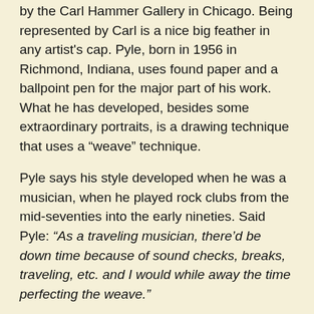by the Carl Hammer Gallery in Chicago. Being represented by Carl is a nice big feather in any artist's cap. Pyle, born in 1956 in Richmond, Indiana, uses found paper and a ballpoint pen for the major part of his work. What he has developed, besides some extraordinary portraits, is a drawing technique that uses a “weave” technique.
Pyle says his style developed when he was a musician, when he played rock clubs from the mid-seventies into the early nineties. Said Pyle: “As a traveling musician, there’d be down time because of sound checks, breaks, traveling, etc. and I would while away the time perfecting the weave.”
Pyle goes on to say: “I had never seen anything like my woven-knot technique before I developed it, so there was no inspiration for it, really. I just loved the act of drawing and had been drawing consistently since about age 12. I guess if you do something that much over the years you might discover something, and I think that I did.”
As a child, Pyle loved the detailed ink work of Basil Wolverton and also loved making rope knots. Pyle says he